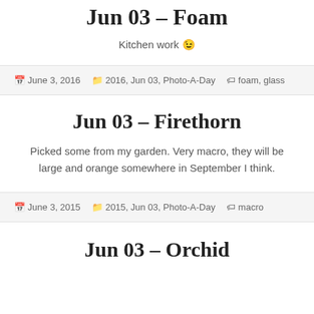Jun 03 – Foam
Kitchen work 😉
June 3, 2016   2016, Jun 03, Photo-A-Day   foam, glass
Jun 03 – Firethorn
Picked some from my garden. Very macro, they will be large and orange somewhere in September I think.
June 3, 2015   2015, Jun 03, Photo-A-Day   macro
Jun 03 – Orchid